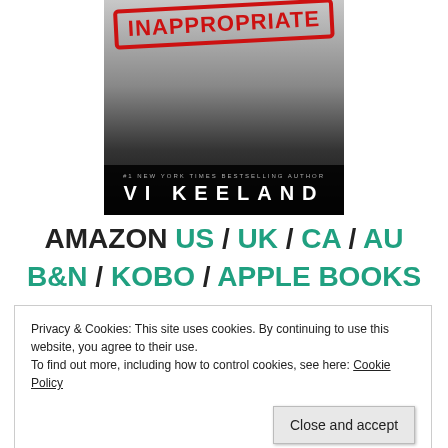[Figure (illustration): Book cover for 'Inappropriate' by Vi Keeland. Features a red stamp reading 'INAPPROPRIATE' at the top, a photo of a man in a white shirt, and the author name 'VI KEELAND' at the bottom with '#1 NEW YORK TIMES BESTSELLING AUTHOR' above it.]
AMAZON US / UK / CA / AU B&N / KOBO / APPLE BOOKS
Privacy & Cookies: This site uses cookies. By continuing to use this website, you agree to their use.
To find out more, including how to control cookies, see here: Cookie Policy
Close and accept